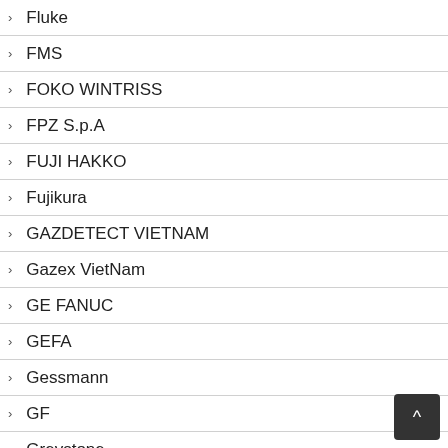Fluke
FMS
FOKO WINTRISS
FPZ S.p.A
FUJI HAKKO
Fujikura
GAZDETECT VIETNAM
Gazex VietNam
GE FANUC
GEFA
Gessmann
GF
Greystone
Grundfos